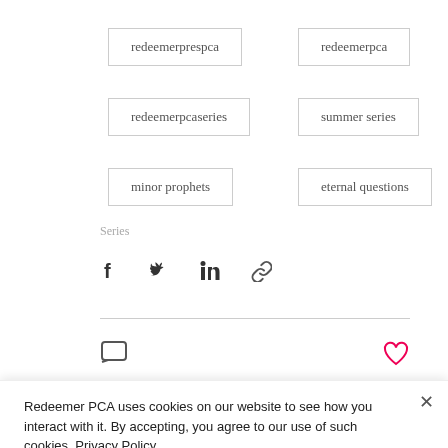redeemerprespca
redeemerpca
redeemerpcaseries
summer series
minor prophets
eternal questions
Series
[Figure (other): Social share icons: Facebook, Twitter, LinkedIn, link]
[Figure (other): Comment icon (left) and heart/like icon in red (right)]
Redeemer PCA uses cookies on our website to see how you interact with it. By accepting, you agree to our use of such cookies. Privacy Policy
Decline All
Accept
Settings